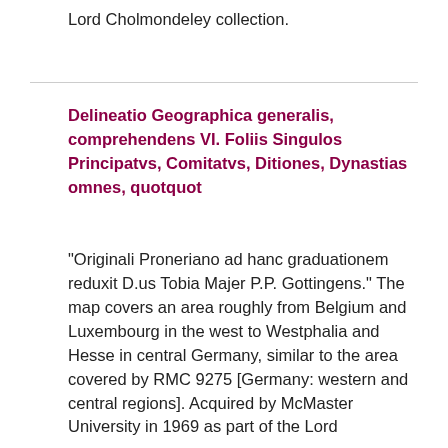Lord Cholmondeley collection.
Delineatio Geographica generalis, comprehendens VI. Foliis Singulos Principatvs, Comitatvs, Ditiones, Dynastias omnes, quotquot
"Originali Proneriano ad hanc graduationem reduxit D.us Tobia Majer P.P. Gottingens." The map covers an area roughly from Belgium and Luxembourg in the west to Westphalia and Hesse in central Germany, similar to the area covered by RMC 9275 [Germany: western and central regions]. Acquired by McMaster University in 1969 as part of the Lord